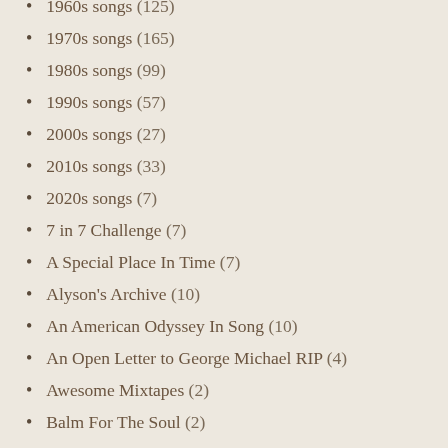1960s songs (125)
1970s songs (165)
1980s songs (99)
1990s songs (57)
2000s songs (27)
2010s songs (33)
2020s songs (7)
7 in 7 Challenge (7)
A Special Place In Time (7)
Alyson's Archive (10)
An American Odyssey In Song (10)
An Open Letter to George Michael RIP (4)
Awesome Mixtapes (2)
Balm For The Soul (2)
Beach Boys (4)
Beatles (13)
Boo Goos (5)